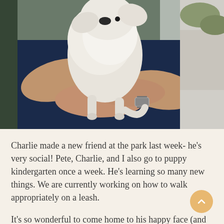[Figure (photo): A person holding a small fluffy white puppy with both hands outdoors. The person is wearing a navy blue shirt and a silver watch. Another person in a white shirt is partially visible on the right. Green grass and light-colored ground visible in the background.]
Charlie made a new friend at the park last week- he's very social! Pete, Charlie, and I also go to puppy kindergarten once a week. He's learning so many new things. We are currently working on how to walk appropriately on a leash.
It's so wonderful to come home to his happy face (and wagging tail) each day. He's also set to appear in his first